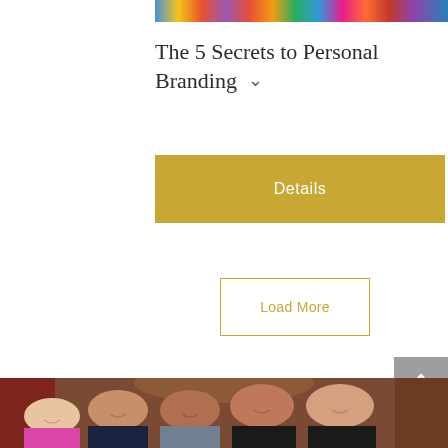[Figure (photo): Colorful horizontal strip of books or spines at top of page]
The 5 Secrets to Personal Branding ∨
Details
Load More
[Figure (photo): Group photo of five women smiling inside a warmly lit venue with red curtains and brick walls in background]